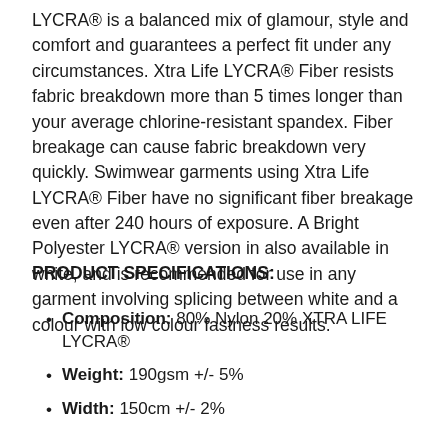LYCRA® is a balanced mix of glamour, style and comfort and guarantees a perfect fit under any circumstances. Xtra Life LYCRA® Fiber resists fabric breakdown more than 5 times longer than your average chlorine-resistant spandex. Fiber breakage can cause fabric breakdown very quickly. Swimwear garments using Xtra Life LYCRA® Fiber have no significant fiber breakage even after 240 hours of exposure. A Bright Polyester LYCRA® version in also available in white, and is recommended for use in any garment involving splicing between white and a colour with low colour fastness results.
PRODUCT SPECIFICATIONS:
Composition: 80% Nylon 20% XTRA LIFE LYCRA®
Weight: 190gsm +/- 5%
Width: 150cm +/- 2%